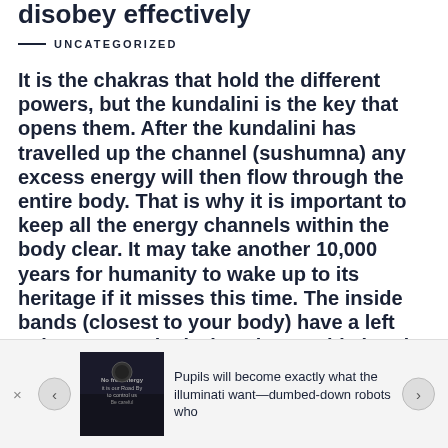disobey effectively
— UNCATEGORIZED
It is the chakras that hold the different powers, but the kundalini is the key that opens them. After the kundalini has travelled up the channel (sushumna) any excess energy will then flow through the entire body. That is why it is important to keep all the energy channels within the body clear. It may take another 10,000 years for humanity to wake up to its heritage if it misses this time. The inside bands (closest to your body) have a left spin counter clockwise, the outside bands flow in a clockwise direction as “infinite unknown” flows into the body.
[Figure (screenshot): Advertisement banner at bottom showing a dark image with text about pupils and illuminati, with navigation arrows and close button]